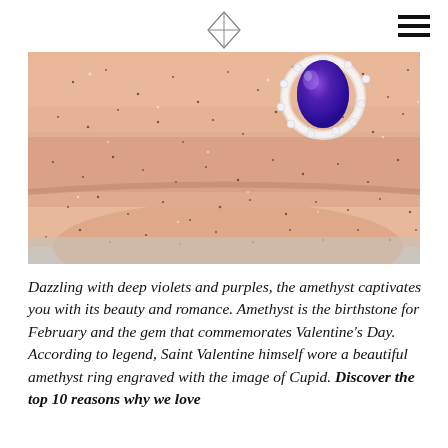[Figure (photo): Close-up photo of a hand with fingers covered in glitter/sand, wearing a large oval amethyst ring with a diamond halo setting. The amethyst gemstone is deep violet-purple.]
Dazzling with deep violets and purples, the amethyst captivates you with its beauty and romance. Amethyst is the birthstone for February and the gem that commemorates Valentine's Day. According to legend, Saint Valentine himself wore a beautiful amethyst ring engraved with the image of Cupid. Discover the top 10 reasons why we love